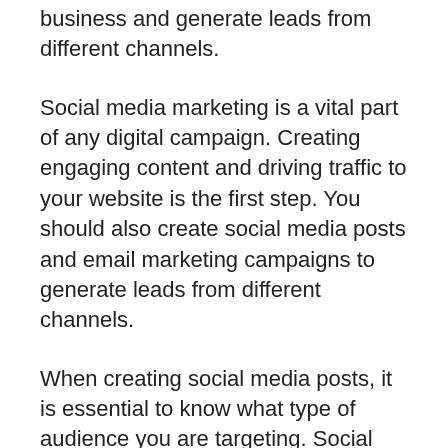business and generate leads from different channels.
Social media marketing is a vital part of any digital campaign. Creating engaging content and driving traffic to your website is the first step. You should also create social media posts and email marketing campaigns to generate leads from different channels.
When creating social media posts, it is essential to know what type of audience you are targeting. Social media posts from a business that targets consumers in their early 20s interested in fashion will generate high-quality leads. In comparison, social media posts from a business that targets consumers